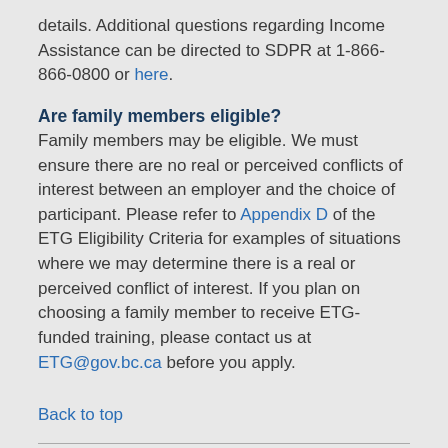details. Additional questions regarding Income Assistance can be directed to SDPR at 1-866-866-0800 or here.
Are family members eligible?
Family members may be eligible. We must ensure there are no real or perceived conflicts of interest between an employer and the choice of participant. Please refer to Appendix D of the ETG Eligibility Criteria for examples of situations where we may determine there is a real or perceived conflict of interest. If you plan on choosing a family member to receive ETG-funded training, please contact us at ETG@gov.bc.ca before you apply.
Back to top
Training Eligibility